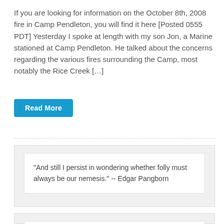If you are looking for information on the October 8th, 2008 fire in Camp Pendleton, you will find it here [Posted 0555 PDT] Yesterday I spoke at length with my son Jon, a Marine stationed at Camp Pendleton. He talked about the concerns regarding the various fires surrounding the Camp, most notably the Rice Creek […]
Read More
"And still I persist in wondering whether folly must always be our nemesis." -- Edgar Pangborn
Bruce F. Webster has been trying to make IT work since 1974. He hasn't given up yet.

Bruce Henderson is a former Marine who focuses custom data mining and visualization technologies on the economy and other disasters.